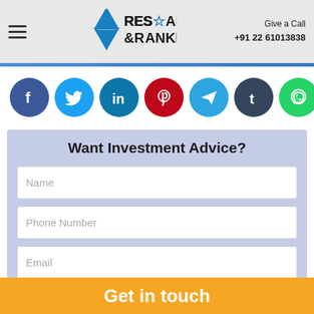Research & Ranking | Give a Call +91 22 61013838
[Figure (infographic): Social media share icons: Facebook, Twitter, LinkedIn, Pinterest, Telegram, Tumblr, WhatsApp]
Want Investment Advice?
Name
Phone Number
Email
Get in touch